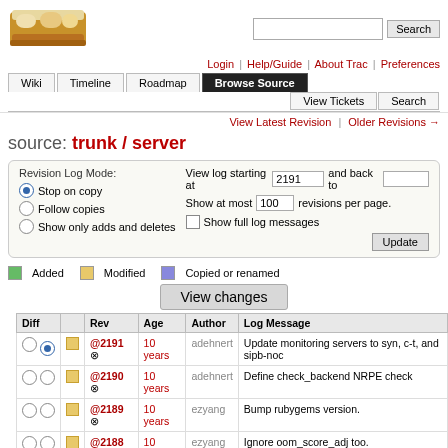[Figure (logo): Trac project logo with bread/sandwich image]
Login | Help/Guide | About Trac | Preferences
Wiki | Timeline | Roadmap | Browse Source | View Tickets | Search
View Latest Revision | Older Revisions →
source: trunk / server
Revision Log Mode: Stop on copy | Follow copies | Show only adds and deletes | View log starting at 2191 and back to | Show at most 100 revisions per page. | Show full log messages | Update
Added   Modified   Copied or renamed
View changes
| Diff |  | Rev | Age | Author | Log Message |
| --- | --- | --- | --- | --- | --- |
| ○ ● | □ | @2191 ⊗ | 10 years | adehnert | Update monitoring servers to syn, c-t, and sipb-noc |
| ○ ○ | □ | @2190 ⊗ | 10 years | adehnert | Define check_backend NRPE check |
| ○ ○ | □ | @2189 ⊗ | 10 years | ezyang | Bump rubygems version. |
| ○ ○ | □ | @2188 ⊗ | 10 years | ezyang | Ignore oom_score_adj too. |